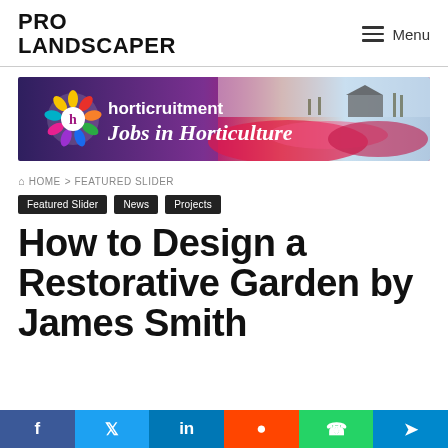PRO LANDSCAPER
[Figure (illustration): Horticruitment banner ad showing colorful flower logo and text 'horticruitment Jobs in Horticulture' with pink tulip field and barn in background]
HOME > FEATURED SLIDER
Featured Slider
News
Projects
How to Design a Restorative Garden by James Smith